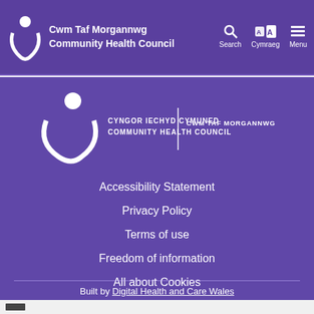Cwm Taf Morgannwg Community Health Council
[Figure (logo): Cwm Taf Morgannwg Community Health Council logo with stylized figure and crescent shape, bilingual text: CYNGOR IECHYD CYMUNED / COMMUNITY HEALTH COUNCIL | CWM TAF MORGANNWG]
Accessibility Statement
Privacy Policy
Terms of use
Freedom of information
All about Cookies
Built by Digital Health and Care Wales